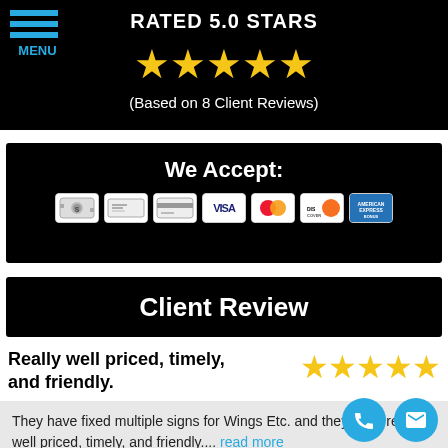[Figure (infographic): Hamburger menu icon with blue lines and MENU label in top-left corner]
RATED 5.0 STARS
[Figure (infographic): 5 gold stars rating display]
(Based on 8 Client Reviews)
We Accept:
[Figure (infographic): Payment method icons: cash, check, credit card, VISA, Mastercard, Discover, American Express]
Client Review
Really well priced, timely, and friendly.
[Figure (infographic): 5 gold stars rating for client review]
They have fixed multiple signs for Wings Etc. and they were really well priced, timely, and friendly.... read more